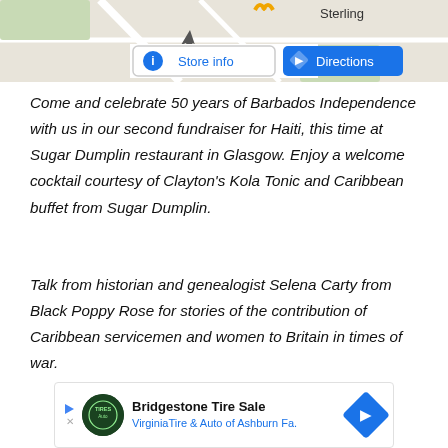[Figure (screenshot): Map section showing partial map with Sterling label and two buttons: Store info and Directions]
Come and celebrate 50 years of Barbados Independence with us in our second fundraiser for Haiti, this time at Sugar Dumplin restaurant in Glasgow. Enjoy a welcome cocktail courtesy of Clayton's Kola Tonic and Caribbean buffet from Sugar Dumplin.
Talk from historian and genealogist Selena Carty from Black Poppy Rose for stories of the contribution of Caribbean servicemen and women to Britain in times of war.
[Figure (screenshot): Advertisement bar for Bridgestone Tire Sale - Virginia Tire & Auto of Ashburn Fa. with logo and directions arrow]